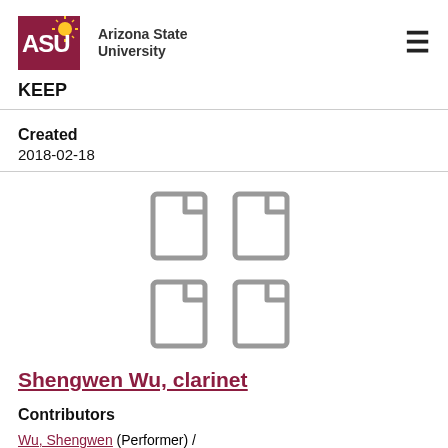Arizona State University KEEP
Created
2018-02-18
[Figure (illustration): Four document/file icons arranged in a 2x2 grid, styled in grey outline]
Shengwen Wu, clarinet
Contributors
Wu, Shengwen (Performer) /
Novak, Gail (Pianist) (Performer) /